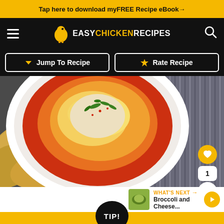Tap here to download my FREE Recipe eBook →
[Figure (logo): Easy Chicken Recipes website logo with hamburger menu icon and search icon on black navigation bar]
Jump To Recipe   Rate Recipe
[Figure (photo): Overhead photo of a cheesy chicken dip in a white ceramic bowl with melted cheese, tomato sauce and parsley, surrounded by tortilla chips on a dark cloth]
WHAT'S NEXT → Broccoli and Cheese...
TIP!
[Figure (infographic): Stop Asian Hate advertisement banner with floral design and illustrated figure]